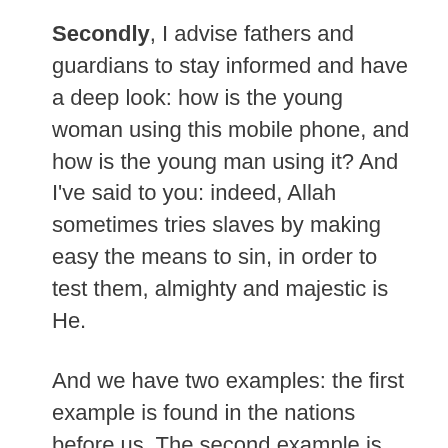Secondly, I advise fathers and guardians to stay informed and have a deep look: how is the young woman using this mobile phone, and how is the young man using it? And I've said to you: indeed, Allah sometimes tries slaves by making easy the means to sin, in order to test them, almighty and majestic is He.
And we have two examples: the first example is found in the nations before us. The second example is found at the beginning of this nation. The Jews were prohibited from catching fish on Saturday.
So when it was Saturday, the fish would come to